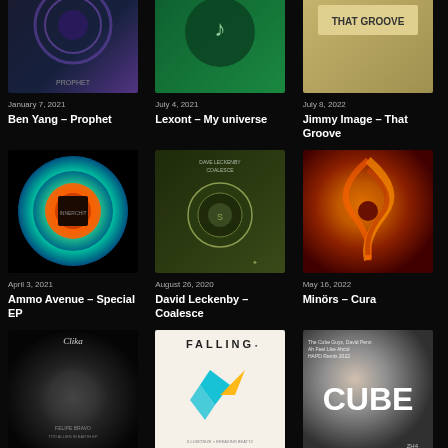[Figure (photo): Album art for Ben Yang - Prophet, dark purple/blue tones]
January 7, 2021
Ben Yang – Prophet
[Figure (photo): Album art for Lexont - My universe, green background]
July 4, 2021
Lexont – My universe
[Figure (photo): Album art for Jimmy Image - That Groove, golden/tan tones with text]
July 8, 2022
Jimmy Image – That Groove
[Figure (photo): Album art for Ammo Avenue - Special EP, colorful circular gradient orange and teal]
April 3, 2021
Ammo Avenue – Special EP
[Figure (photo): Album art for David Leckenby - Coalesce, dark olive green with circular emblem]
August 26, 2020
David Leckenby – Coalesce
[Figure (photo): Album art for Minors - Cura, swirling orange and dark red spiral]
May 16, 2022
Minörs – Cura
[Figure (photo): Album art for Felipe Bravo - Too Allien in Earth, black and white photo with Clika text]
January 3, 2021
Felipe Bravo – Too Allien in Earth
[Figure (photo): Album art for illusionize, Breaking Beattz - Falling, white background with paper crane illustration]
February 8, 2021
illusionize, Breaking Beattz – Falling
[Figure (photo): Album art for David Penn, The Cube Guys - Ah Feel Like Ahcid, CUBE text with grayscale background]
June 26, 2022
David Penn, The Cube Guys – Ah Feel Like Ahcid